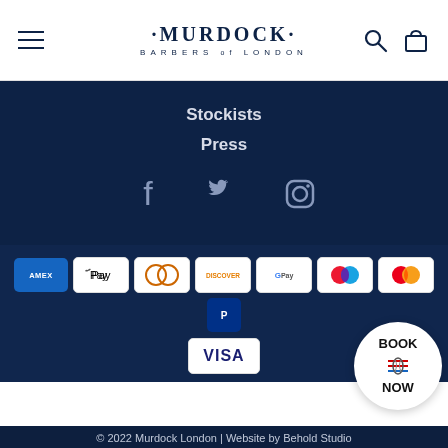Murdock Barbers of London – navigation header
Stockists
Press
[Figure (illustration): Social media icons: Facebook, Twitter, Instagram in white on dark navy background]
[Figure (illustration): Payment method icons: Amex, Apple Pay, Diners Club, Discover, Google Pay, Maestro, Mastercard, PayPal, Visa]
[Figure (illustration): Book Now circular button with barber pole icon]
© 2022 Murdock London | Website by Behold Studio